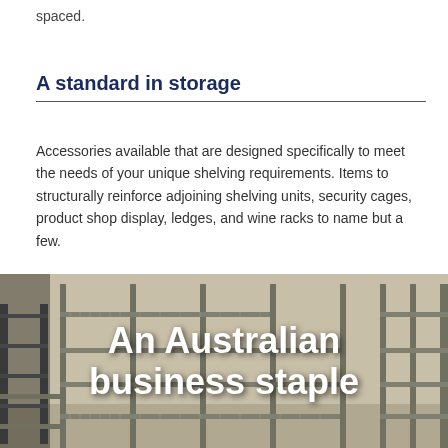spaced.
A standard in storage
Accessories available that are designed specifically to meet the needs of your unique shelving requirements. Items to structurally reinforce adjoining shelving units, security cages, product shop display, ledges, and wine racks to name but a few.
[Figure (photo): Industrial metal wire shelving units in a warehouse/storage room, with overlaid bold white text reading 'An Australian business staple']